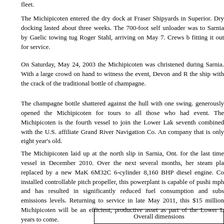fleet.
The Michipicoten entered the dry dock at Fraser Shipyards in Superior. Dry docking lasted about three weeks. The 700-foot self unloader was to Sarnia by Gaelic towing tug Roger Stahl, arriving on May 7. Crews b fitting it out for service.
On Saturday, May 24, 2003 the Michipicoten was christened during a ceremony in Sarnia. With a large crowd on hand to witness the event, Devon and R the ship with the crack of the traditional bottle of champagne.
The champagne bottle shattered against the hull with one swing. generously opened the Michipicoten for tours to all those who had attended the event. The Michipicoten is the fourth vessel to join the Lower Lakes fleet, seventh combined with the U.S. affiliate Grand River Navigation Co. An impressive feat for a company that is only eight year's old.
The Michipicoten laid up at the north slip in Sarnia, Ont. for the last time as a steam vessel in December 2010. Over the next several months, her steam plant was replaced by a new MaK 6M32C 6-cylinder 8,160 BHP diesel engine. Combined with an installed controllable pitch propeller, this powerplant is capable of pushing the vessel at 16 mph and has resulted in significantly reduced fuel consumption and substantially lower emissions levels. Returning to service in late May 2011, this $15 million re-powered Michipicoten will be an efficient, productive asset as part of the Lower Lakes fleet for many years to come.
| Overall dimensions |
| --- |